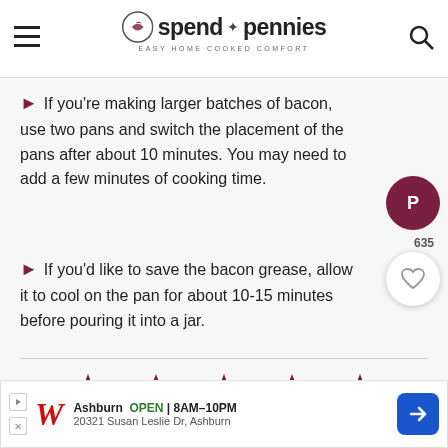spend with pennies — Easy Home Cooked Comfort
If you're making larger batches of bacon, use two pans and switch the placement of the pans after about 10 minutes. You may need to add a few minutes of cooking time.
If you'd like to save the bacon grease, allow it to cool on the pan for about 10-15 minutes before pouring it into a jar.
[Figure (infographic): Five dark maroon/wine colored stars representing a 5-star rating]
4.99 from 59 votes  ↑ Click stars to rate now!
[Figure (infographic): Walgreens advertisement banner: Ashburn OPEN 8AM-10PM, 20321 Susan Leslie Dr, Ashburn]